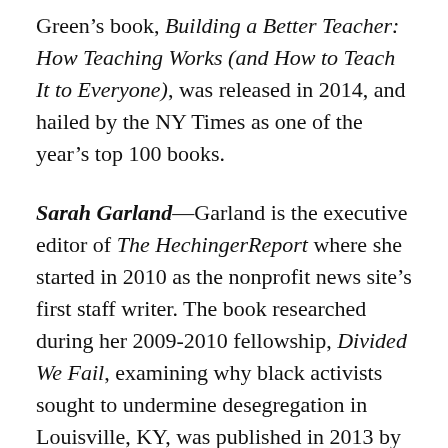Green's book, Building a Better Teacher: How Teaching Works (and How to Teach It to Everyone), was released in 2014, and hailed by the NY Times as one of the year's top 100 books.
Sarah Garland—Garland is the executive editor of The HechingerReport where she started in 2010 as the nonprofit news site's first staff writer. The book researched during her 2009-2010 fellowship, Divided We Fail, examining why black activists sought to undermine desegregation in Louisville, KY, was published in 2013 by Beacon Press. As a writer and editor at The Hechinger Report, she's helped shape the